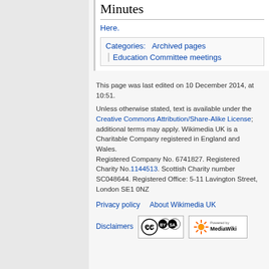Minutes
Here.
Categories:  Archived pages
Education Committee meetings
This page was last edited on 10 December 2014, at 10:51.

Unless otherwise stated, text is available under the Creative Commons Attribution/Share-Alike License; additional terms may apply. Wikimedia UK is a Charitable Company registered in England and Wales.
Registered Company No. 6741827. Registered Charity No.1144513. Scottish Charity number SC048644. Registered Office: 5-11 Lavington Street, London SE1 0NZ
Privacy policy   About Wikimedia UK
Disclaimers